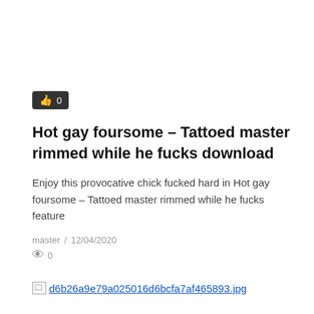[Figure (other): Like/thumbs-up button with count 0 on dark background]
Hot gay foursome – Tattoed master rimmed while he fucks download
Enjoy this provocative chick fucked hard in Hot gay foursome – Tattoed master rimmed while he fucks feature
master  /  12/04/2020
👁 0
d6b26a9e79a025016d6bcfa7af465893.jpg